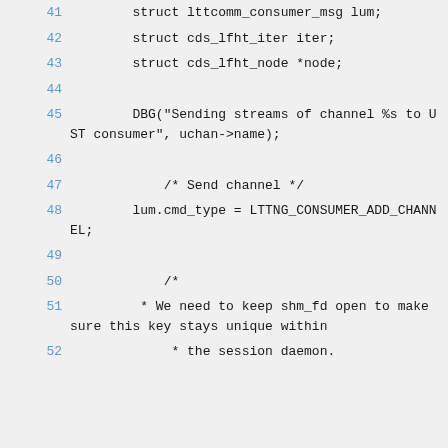41    struct lttcomm_consumer_msg lum;
42        struct cds_lfht_iter iter;
43        struct cds_lfht_node *node;
44
45        DBG("Sending streams of channel %s to UST consumer", uchan->name);
46
47            /* Send channel */
48        lum.cmd_type = LTTNG_CONSUMER_ADD_CHANNEL;
49
50            /*
51        * We need to keep shm_fd open to make sure this key stays unique within
52            * the session daemon.